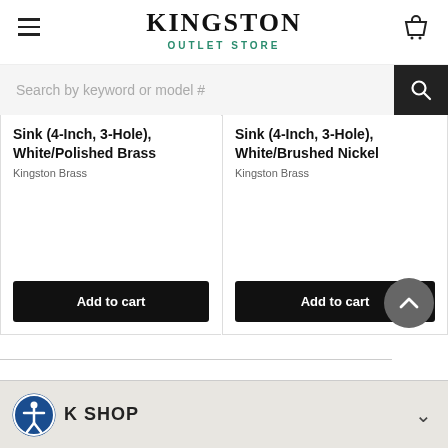KINGSTON OUTLET STORE
Search by keyword or model #
Sink (4-Inch, 3-Hole), White/Polished Brass
Kingston Brass
Add to cart
Sink (4-Inch, 3-Hole), White/Brushed Nickel
Kingston Brass
Add to cart
[Figure (screenshot): Scroll to top button - dark grey circle with upward chevron arrow]
QUICK SHOP